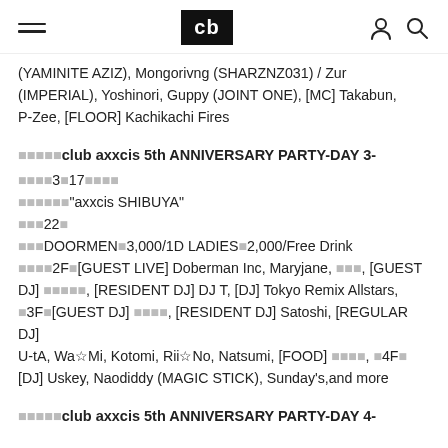cb
(YAMINITE AZIZ), Mongorivng (SHARZNZ031) / Zur (IMPERIAL), Yoshinori, Guppy (JOINT ONE), [MC] Takabun, P-Zee, [FLOOR] Kachikachi Fires
□□□□□club axxcis 5th ANNIVERSARY PARTY-DAY 3-
□□□□3月17日□□□□
□□□□□□"axxcis SHIBUYA"
□□□22□
□□□DOORMEN□3,000/1D LADIES□2,000/Free Drink
□□□□2F□[GUEST LIVE] Doberman Inc, Maryjane, □□□, [GUEST DJ] □□□□□, [RESIDENT DJ] DJ T, [DJ] Tokyo Remix Allstars, □3F□[GUEST DJ] □□□□, [RESIDENT DJ] Satoshi, [REGULAR DJ] U-tA, Wa☆Mi, Kotomi, Rii☆No, Natsumi, [FOOD] □□□□, □4F□[DJ] Uskey, Naodiddy (MAGIC STICK), Sunday's,and more
□□□□□club axxcis 5th ANNIVERSARY PARTY-DAY 4-